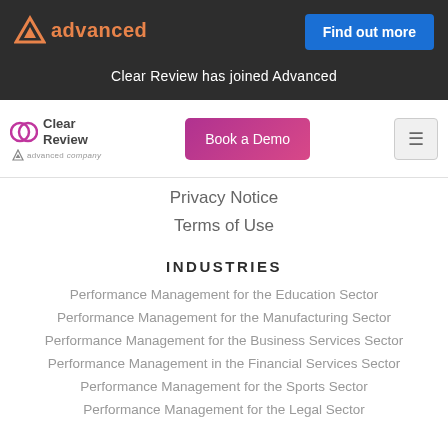Clear Review has joined Advanced
[Figure (logo): Clear Review by Advanced logo with book a demo button and hamburger menu]
Privacy Notice
Terms of Use
INDUSTRIES
Performance Management for the Education Sector
Performance Management for the Manufacturing Sector
Performance Management for the Business Services Sector
Performance Management in the Financial Services Sector
Performance Management for the Sports Sector
Performance Management for the Legal Sector